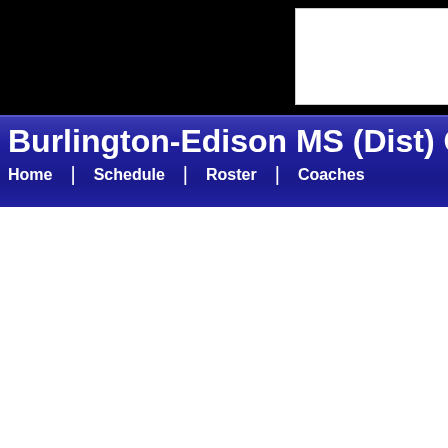Burlington-Edison MS (Dist) Co-Ed
Home | Schedule | Roster | Coaches